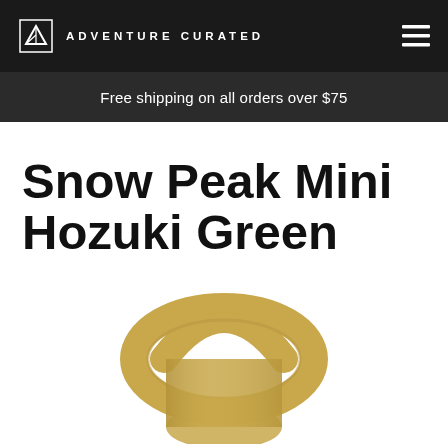ADVENTURE CURATED
Free shipping on all orders over $75
Snow Peak Mini Hozuki Green
[Figure (photo): Partial view of a Snow Peak Mini Hozuki Green lantern top handle, gold/olive color, shown from above on a white background]